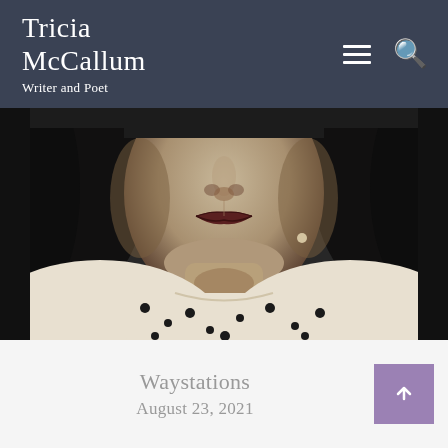Tricia McCallum
Writer and Poet
[Figure (photo): Black and white close-up portrait of a woman from approximately the 1940s, showing her face from the nose down and upper torso, wearing a light-colored polka dot dress with puffy sleeves, with dark curly hair]
Waystations
August 23, 2021